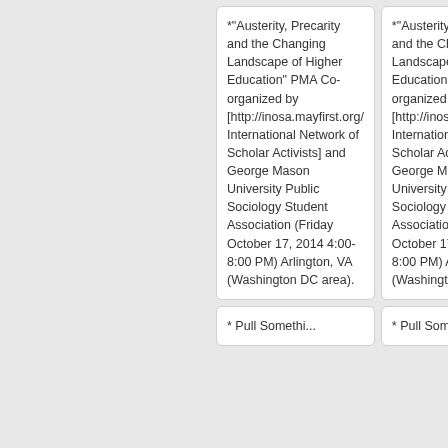*"Austerity, Precarity and the Changing Landscape of Higher Education" PMA Co-organized by [http://inosa.mayfirst.org/ International Network of Scholar Activists] and George Mason University Public Sociology Student Association (Friday October 17, 2014 4:00-8:00 PM) Arlington, VA (Washington DC area).
*"Austerity, Precarity and the Changing Landscape of Higher Education" PMA Co-organized by [http://inosa.mayfirst.org/ International Network of Scholar Activists] and George Mason University Public Sociology Student Association (Friday October 17, 2014 4:00-8:00 PM) Arlington, VA (Washington DC area).